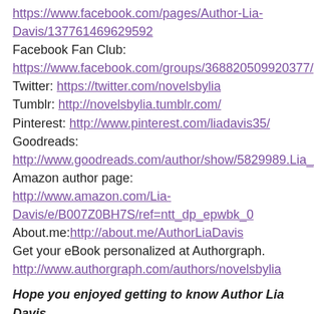https://www.facebook.com/pages/Author-Lia-Davis/137761469629592
Facebook Fan Club: https://www.facebook.com/groups/368820509920377/
Twitter: https://twitter.com/novelsbylia
Tumblr: http://novelsbylia.tumblr.com/
Pinterest: http://www.pinterest.com/liadavis35/
Goodreads: http://www.goodreads.com/author/show/5829989.Lia_Davis
Amazon author page: http://www.amazon.com/Lia-Davis/e/B007Z0BH7S/ref=ntt_dp_epwbk_0
About.me:http://about.me/AuthorLiaDavis
Get your eBook personalized at Authorgraph.
http://www.authorgraph.com/authors/novelsbylia
Hope you enjoyed getting to know Author Lia Davis